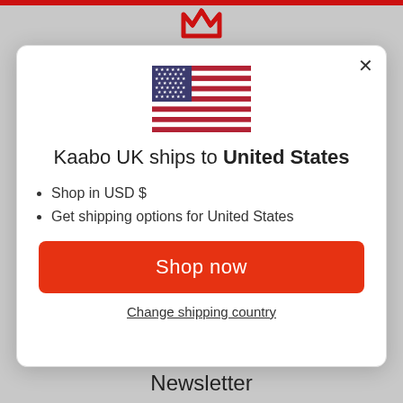[Figure (logo): Kaabo logo - red stylized M icon at top center of page]
[Figure (illustration): United States flag illustration]
Kaabo UK ships to United States
Shop in USD $
Get shipping options for United States
Shop now
Change shipping country
Newsletter